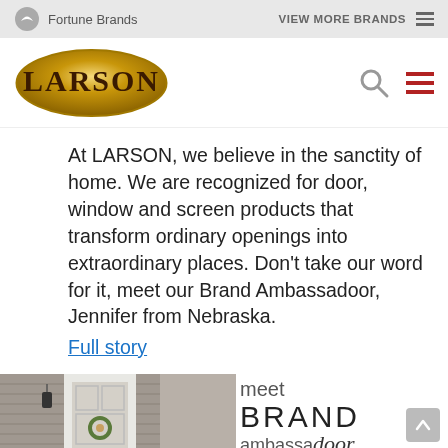Fortune Brands   VIEW MORE BRANDS
[Figure (logo): Larson brand logo — gold oval with LARSON text in dark brown serif letters]
At LARSON, we believe in the sanctity of home. We are recognized for door, window and screen products that transform ordinary openings into extraordinary places. Don't take our word for it, meet our Brand Ambassadoor, Jennifer from Nebraska.
Full story
[Figure (photo): Photo of a white front door with sidelights on a house with gray siding, decorated with a wreath, partially visible outdoor lantern sconce]
meet BRAND ambassa door